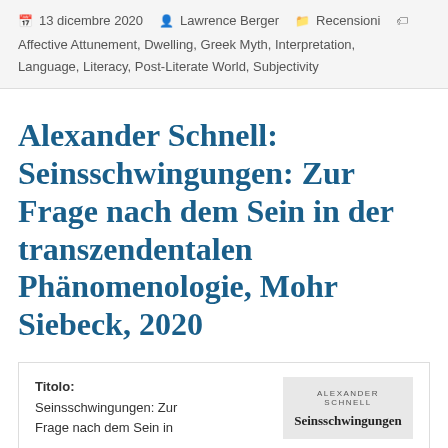13 dicembre 2020  Lawrence Berger  Recensioni  Affective Attunement, Dwelling, Greek Myth, Interpretation, Language, Literacy, Post-Literate World, Subjectivity
Alexander Schnell: Seinsschwingungen: Zur Frage nach dem Sein in der transzendentalen Phänomenologie, Mohr Siebeck, 2020
| Field | Value |
| --- | --- |
| Titolo: | Seinsschwingungen: Zur Frage nach dem Sein in |